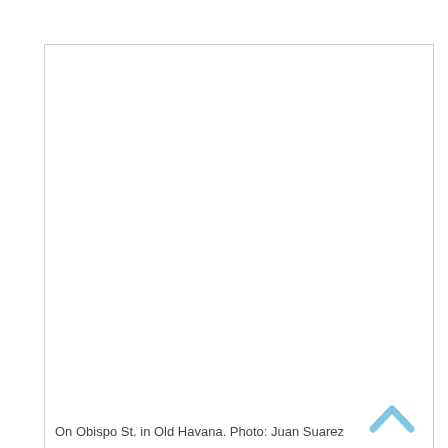[Figure (photo): A mostly blank white photo placeholder box with a caption at the bottom reading 'On Obispo St. in Old Havana. Photo: Juan Suarez']
On Obispo St. in Old Havana. Photo: Juan Suarez